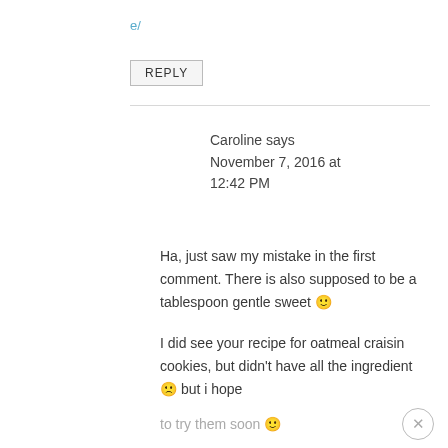e/
REPLY
Caroline says
November 7, 2016 at 12:42 PM
Ha, just saw my mistake in the first comment. There is also supposed to be a tablespoon gentle sweet 🙂
I did see your recipe for oatmeal craisin cookies, but didn't have all the ingredient 🙁 but i hope to try them soon 🙂